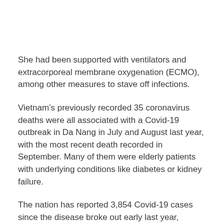She had been supported with ventilators and extracorporeal membrane oxygenation (ECMO), among other measures to stave off infections.
Vietnam’s previously recorded 35 coronavirus deaths were all associated with a Covid-19 outbreak in Da Nang in July and August last year, with the most recent death recorded in September. Many of them were elderly patients with underlying conditions like diabetes or kidney failure.
The nation has reported 3,854 Covid-19 cases since the disease broke out early last year, including 2,657 recoveries. The ongoing fourth wave has seen 824 local cases in 26 cities and provinces.
(vitag.Init = window.vitag.Init || []).push(function () {